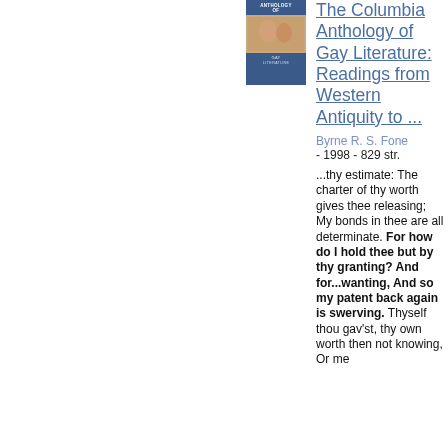[Figure (photo): Book cover of 'The Columbia Anthology of Gay Literature' showing two figures, blue background with title text]
The Columbia Anthology of Gay Literature: Readings from Western Antiquity to ...
Byrne R. S. Fone
- 1998 - 829 str.
...thy estimate: The charter of thy worth gives thee releasing; My bonds in thee are all determinate. For how do I hold thee but by thy granting? And for...wanting, And so my patent back again is swerving. Thyself thou gav'st, thy own worth then not knowing, Or me to whom thou gav'st it else mistaking;